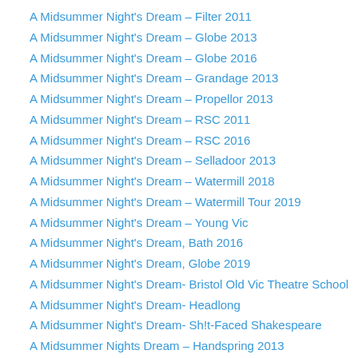A Midsummer Night's Dream – Filter 2011
A Midsummer Night's Dream – Globe 2013
A Midsummer Night's Dream – Globe 2016
A Midsummer Night's Dream – Grandage 2013
A Midsummer Night's Dream – Propellor 2013
A Midsummer Night's Dream – RSC 2011
A Midsummer Night's Dream – RSC 2016
A Midsummer Night's Dream – Selladoor 2013
A Midsummer Night's Dream – Watermill 2018
A Midsummer Night's Dream – Watermill Tour 2019
A Midsummer Night's Dream – Young Vic
A Midsummer Night's Dream, Bath 2016
A Midsummer Night's Dream, Globe 2019
A Midsummer Night's Dream- Bristol Old Vic Theatre School
A Midsummer Night's Dream- Headlong
A Midsummer Night's Dream- Sh!t-Faced Shakespeare
A Midsummer Nights Dream – Handspring 2013
A Midsummer Night's Dream RSC 2016 Revisited
A Number
A Streetcar Named Desire NT Live